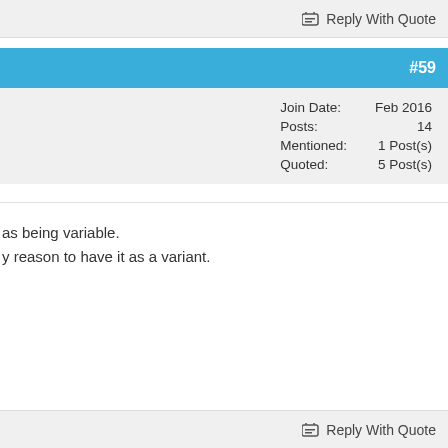Reply With Quote
#59
| Join Date: | Feb 2016 |
| Posts: | 14 |
| Mentioned: | 1 Post(s) |
| Quoted: | 5 Post(s) |
as being variable.
y reason to have it as a variant.
Reply With Quote